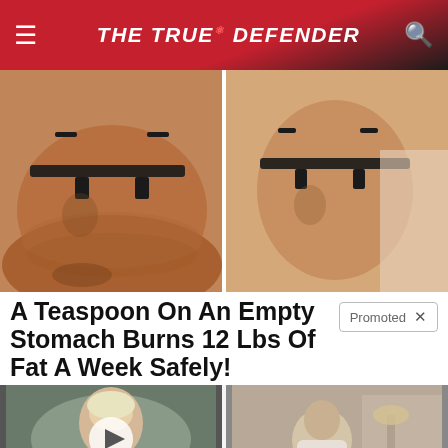THE TRUE DEFENDER
[Figure (photo): Before and after weight loss comparison showing a woman's back in a black bra, split image]
A Teaspoon On An Empty Stomach Burns 12 Lbs Of Fat A Week Safely!
[Figure (photo): Thumbnail of Hillary Clinton with a video play button overlay]
Top Democrats Fear This Video Getting Out — Watch Now Before It's Banned
🔥 59,107
[Figure (photo): Thumbnail of elderly person sitting on bed]
How Your Body Warns You That Dementia Is Forming
🔥 49,897